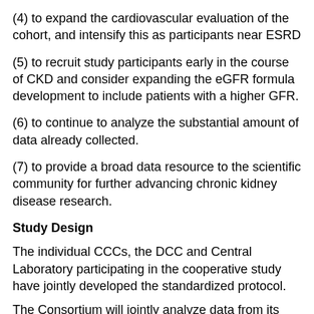(4) to expand the cardiovascular evaluation of the cohort, and intensify this as participants near ESRD
(5) to recruit study participants early in the course of CKD and consider expanding the eGFR formula development to include patients with a higher GFR.
(6) to continue to analyze the substantial amount of data already collected.
(7) to provide a broad data resource to the scientific community for further advancing chronic kidney disease research.
Study Design
The individual CCCs, the DCC and Central Laboratory participating in the cooperative study have jointly developed the standardized protocol.
The Consortium will jointly analyze data from its study populations. The consortium has developed a mechanism to solicit ancillary research applications from investigators who have enrolled patients in the CKiD study.  CKiD is collecting specimens that include sufficient material for measurements